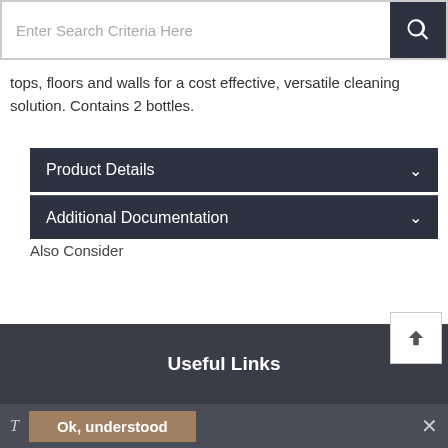[Figure (screenshot): Search bar with placeholder text 'Enter Search Criteria Here' and a dark search button with magnifying glass icon]
tops, floors and walls for a cost effective, versatile cleaning solution. Contains 2 bottles.
Product Details
Additional Documentation
Also Consider
Useful Links
Ok, understood